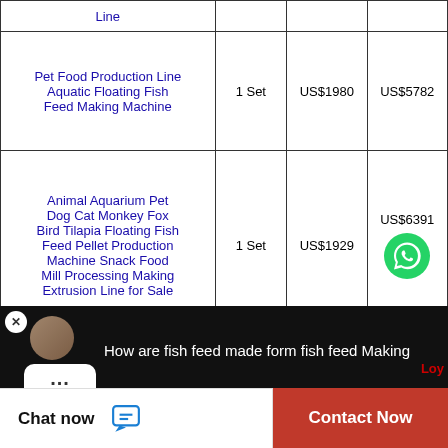| Product | Quantity | Min Price | Max Price |
| --- | --- | --- | --- |
| Line |  |  |  |
| Pet Food Production Line Aquatic Floating Fish Feed Making Machine | 1 Set | US$1980 | US$5782 |
| Animal Aquarium Pet Dog Cat Monkey Fox Bird Tilapia Floating Fish Feed Pellet Production Machine Snack Food Mill Processing Making Extrusion Line for Sale | 1 Set | US$1929 | US$6391 |
WhatsApp Online
[Figure (screenshot): Video banner showing 'How are fish feed made form fish feed Making' with avatar, chat bubble with ellipsis, and Loy watermark on dark background]
Chat now
Contact Now